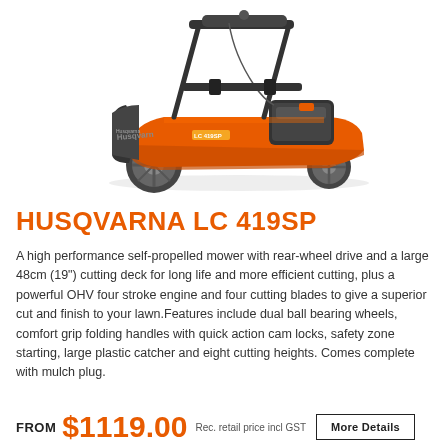[Figure (photo): Husqvarna LC 419SP self-propelled lawn mower with orange body, black grass catcher, folding handles, and four wheels on white background]
HUSQVARNA LC 419SP
A high performance self-propelled mower with rear-wheel drive and a large 48cm (19") cutting deck for long life and more efficient cutting, plus a powerful OHV four stroke engine and four cutting blades to give a superior cut and finish to your lawn.Features include dual ball bearing wheels, comfort grip folding handles with quick action cam locks, safety zone starting, large plastic catcher and eight cutting heights. Comes complete with mulch plug.
FROM $1119.00 Rec. retail price incl GST